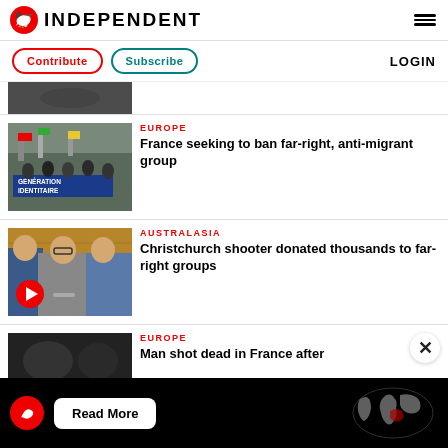INDEPENDENT
Contribute | Subscribe | LOGIN
[Figure (photo): Partial top article image, cropped protest/crowd photo]
[Figure (photo): Génération Identitaire banner protest march, France — people carrying flags and blue banner reading GÉNÉRATION IDENTITAIRE]
EUROPE
France seeking to ban far-right, anti-migrant group
[Figure (photo): Christchurch shooter in custody, handcuffed, being escorted by police officers; red play button overlay in corner]
AUSTRALASIA
Christchurch shooter donated thousands to far-right groups
[Figure (photo): Bottom partial photo, dark image, Europe article]
EUROPE
Man shot dead in France after
[Figure (infographic): Ad banner: Independent logo, Read More button, world map graphic]